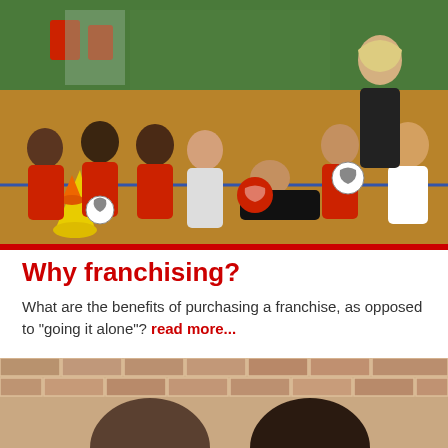[Figure (photo): Children in red and white sports uniforms sitting on a gym floor holding soccer balls, with traffic cones in the foreground and a female coach/instructor standing behind them.]
Why franchising?
What are the benefits of purchasing a franchise, as opposed to "going it alone"? read more...
[Figure (photo): Two people photographed from the shoulders up near a brick wall, partially cropped - only the tops of their heads visible.]